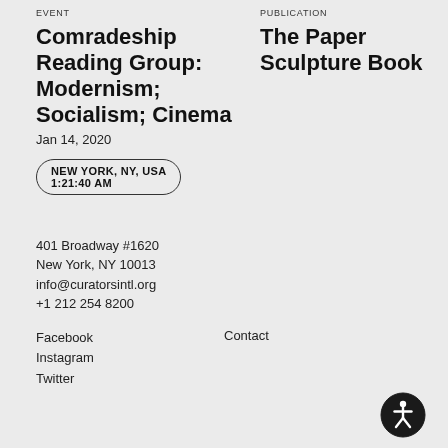EVENT
Comradeship Reading Group: Modernism; Socialism; Cinema
Jan 14, 2020
NEW YORK, NY, USA
1:21:40 AM
PUBLICATION
The Paper Sculpture Book
401 Broadway #1620
New York, NY 10013
info@curatorsintl.org
+1 212 254 8200
Facebook
Instagram
Twitter
Contact
[Figure (other): Accessibility icon — circular badge with person/wheelchair symbol]